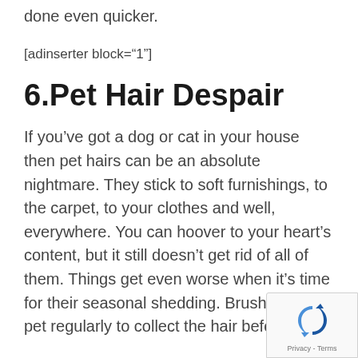done even quicker.
[adinserter block="1"]
6.Pet Hair Despair
If you’ve got a dog or cat in your house then pet hairs can be an absolute nightmare. They stick to soft furnishings, to the carpet, to your clothes and well, everywhere. You can hoover to your heart’s content, but it still doesn’t get rid of all of them. Things get even worse when it’s time for their seasonal shedding. Brushing your pet regularly to collect the hair before it